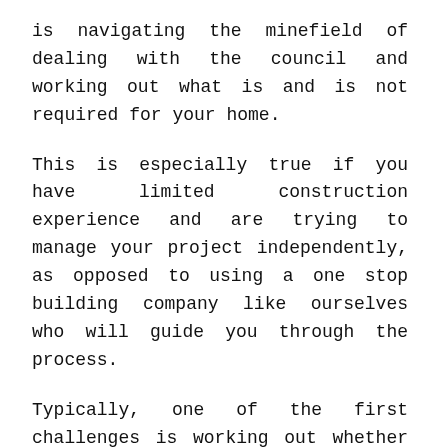is navigating the minefield of dealing with the council and working out what is and is not required for your home.
This is especially true if you have limited construction experience and are trying to manage your project independently, as opposed to using a one stop building company like ourselves who will guide you through the process.
Typically, one of the first challenges is working out whether your home extension or new build will require building consent, resource consent or both. Whats the difference?, we hear you ask & 187 projects worth of expertise with dealing with the council means we have the answer in this